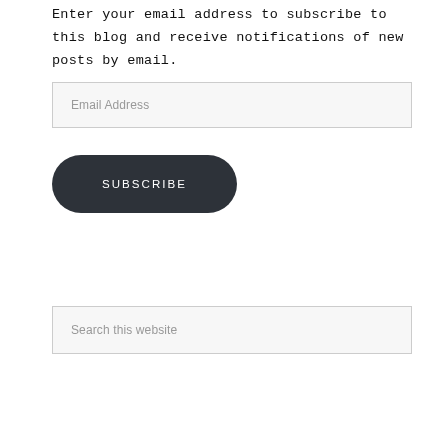Enter your email address to subscribe to this blog and receive notifications of new posts by email.
Email Address
SUBSCRIBE
Search this website